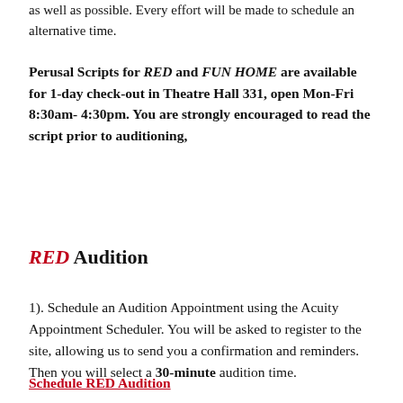as well as possible. Every effort will be made to schedule an alternative time.
Perusal Scripts for RED and FUN HOME are available for 1-day check-out in Theatre Hall 331, open Mon-Fri 8:30am- 4:30pm. You are strongly encouraged to read the script prior to auditioning,
RED Audition
1). Schedule an Audition Appointment using the Acuity Appointment Scheduler. You will be asked to register to the site, allowing us to send you a confirmation and reminders. Then you will select a 30-minute audition time.
Schedule RED Audition